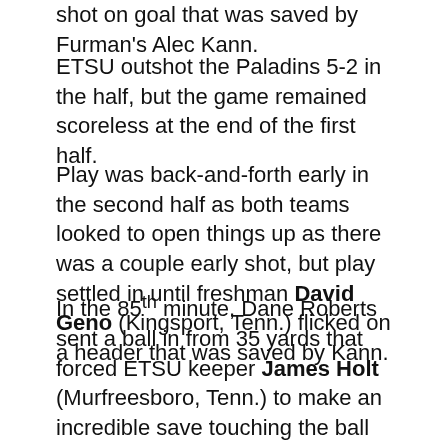shot on goal that was saved by Furman's Alec Kann.
ETSU outshot the Paladins 5-2 in the half, but the game remained scoreless at the end of the first half.
Play was back-and-forth early in the second half as both teams looked to open things up as there was a couple early shot, but play settled in until freshman David Geno (Kingsport, Tenn.) flicked on a header that was saved by Kann.
In the 85th minute, Dane Roberts sent a ball in from 35 yards that forced ETSU keeper James Holt (Murfreesboro, Tenn.) to make an incredible save touching the ball into the crossbar sending it high into the air, but Furman's Fabien Vorbe was there to head the rebound from the save into the back of the net to give the Paladins a 1-0 lead.
Late in the match the Bucs poured on the pressure creating several chances in the final five minutes of the half, but the Buccaneers could not find the back of the net for the equalizer